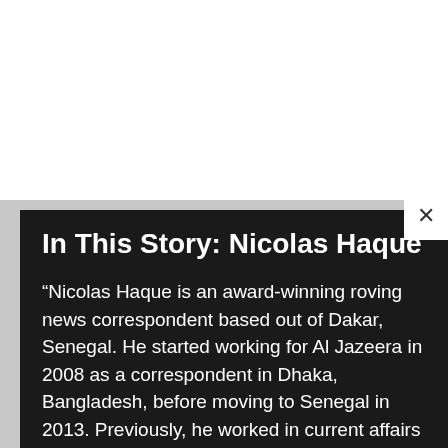In This Story: Nicolas Haque
“Nicolas Haque is an award-winning roving news correspondent based out of Dakar, Senegal. He started working for Al Jazeera in 2008 as a correspondent in Dhaka, Bangladesh, before moving to Senegal in 2013. Previously, he worked in current affairs for ITN, Channel 4 News, BBC Asian Programmes and ABC News in London. A member of the African Foreign Press Association, he holds an MA honours in Anthropology from the School of Oriental